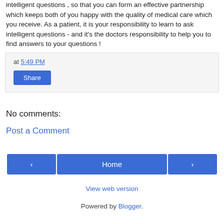A good doctor will encourage questions , and will also help you to ask intelligent questions , so that you can form an effective partnership which keeps both of you happy with the quality of medical care which you receive. As a patient, it is your responsibility to learn to ask intelligent questions - and it's the doctors responsibility to help you to find answers to your questions !
at 5:49 PM
Share
No comments:
Post a Comment
‹
Home
›
View web version
Powered by Blogger.